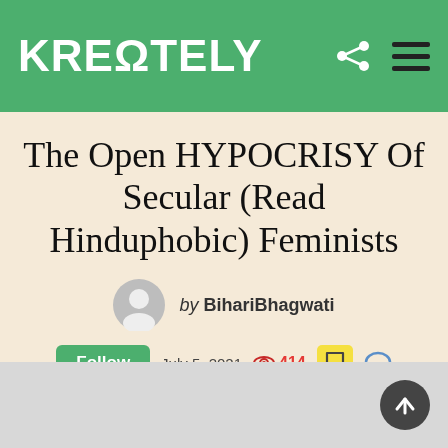KREΩTELY
The Open HYPOCRISY Of Secular (Read Hinduphobic) Feminists
by BihariBhagwati
Follow  July 5, 2021  414